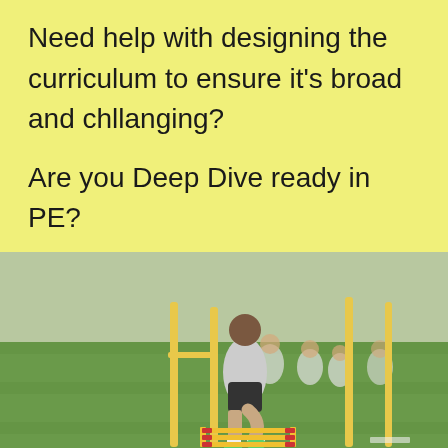Need help with designing the curriculum to ensure it's broad and chllanging?
Are you Deep Dive ready in PE?
.
[Figure (photo): Students running over agility ladders on a green sports field with yellow poles/hurdles, wearing white PE kit, practicing sports drills.]